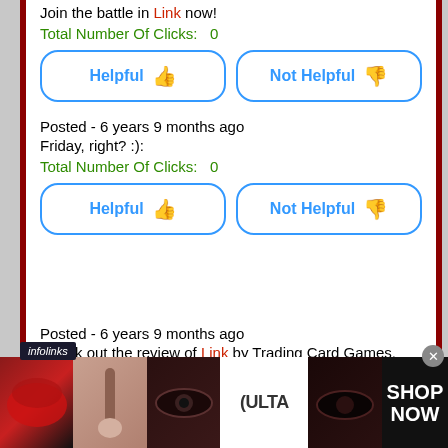Join the battle in Link now!
Total Number Of Clicks:   0
[Figure (screenshot): Helpful and Not Helpful buttons (rounded blue border) with thumbs up and thumbs down icons]
Posted - 6 years 9 months ago
Friday, right? :):
Total Number Of Clicks:   0
[Figure (screenshot): Helpful and Not Helpful buttons (rounded blue border) with thumbs up and thumbs down icons]
Posted - 6 years 9 months ago
Check out the review of Link by Trading Card Games.
Total Number Of Clicks:   0
[Figure (advertisement): Ulta beauty advertisement banner with makeup images and SHOP NOW text]